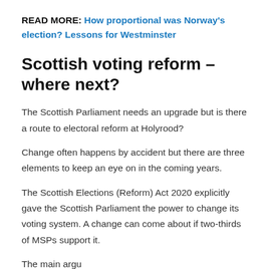READ MORE: How proportional was Norway's election? Lessons for Westminster
Scottish voting reform – where next?
The Scottish Parliament needs an upgrade but is there a route to electoral reform at Holyrood?
Change often happens by accident but there are three elements to keep an eye on in the coming years.
The Scottish Elections (Reform) Act 2020 explicitly gave the Scottish Parliament the power to change its voting system. A change can come about if two-thirds of MSPs support it.
The main arguments to start to the question here f…